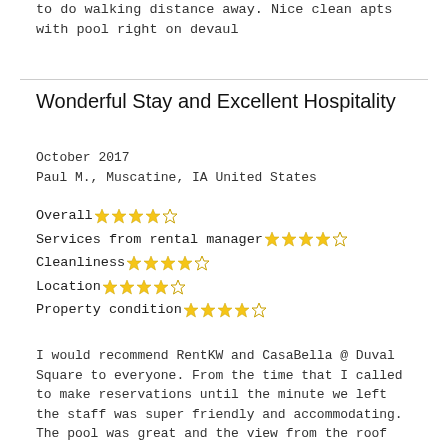to do walking distance away. Nice clean apts with pool right on devaul
Wonderful Stay and Excellent Hospitality
October 2017
Paul M., Muscatine, IA United States
Overall ★★★★☆
Services from rental manager ★★★★☆
Cleanliness ★★★★☆
Location ★★★★☆
Property condition ★★★★☆
I would recommend RentKW and CasaBella @ Duval Square to everyone. From the time that I called to make reservations until the minute we left the staff was super friendly and accommodating. The pool was great and the view from the roof top was fun to overlook the parade. Clean atmosphere. We will definitely be staying here again.